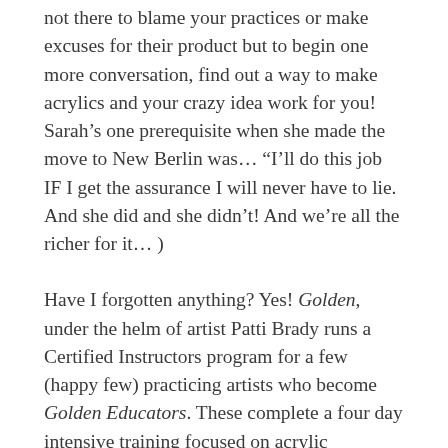not there to blame your practices or make excuses for their product but to begin one more conversation, find out a way to make acrylics and your crazy idea work for you! Sarah's one prerequisite when she made the move to New Berlin was... "I'll do this job IF I get the assurance I will never have to lie. And she did and she didn't! And we're all the richer for it... )
Have I forgotten anything? Yes! Golden, under the helm of artist Patti Brady runs a Certified Instructors program for a few (happy few) practicing artists who become Golden Educators. These complete a four day intensive training focused on acrylic techniques and offer workshops in Australia, New Zealand, South Africa, Israel, Canada, Brazil, Chile, Barbados, USA, Northern and Southern Europe... go to the website for more info. And for artists really dedicated there is also